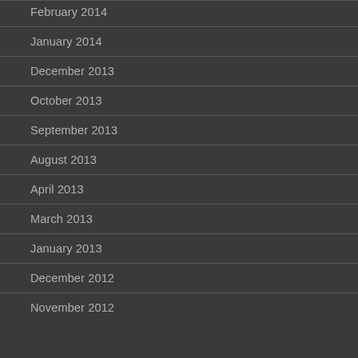February 2014
January 2014
December 2013
October 2013
September 2013
August 2013
April 2013
March 2013
January 2013
December 2012
November 2012